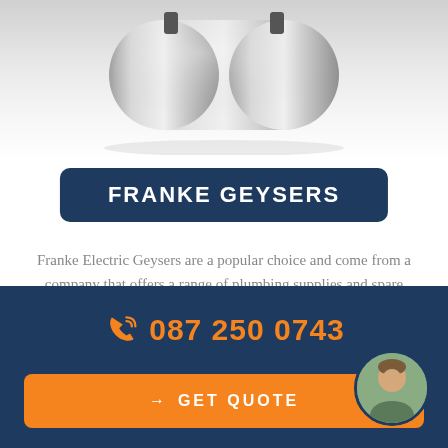[Figure (photo): Partial view of a metallic/silver electric geyser cylinder against a white background]
FRANKE GEYSERS
Franke Electric Geysers are a popular choice and come from a company that offers a range of plumbing supplies and spare parts in Port Elizabeth. FRANKE electric geysers have been designed in line with SANS 60335-2-21 safety requirements.
087 250 0743
→ GET QUOTE